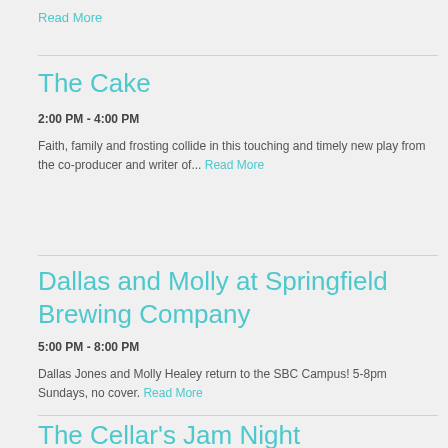Read More
The Cake
2:00 PM - 4:00 PM
Faith, family and frosting collide in this touching and timely new play from the co-producer and writer of... Read More
Dallas and Molly at Springfield Brewing Company
5:00 PM - 8:00 PM
Dallas Jones and Molly Healey return to the SBC Campus! 5-8pm Sundays, no cover. Read More
The Cellar's Jam Night